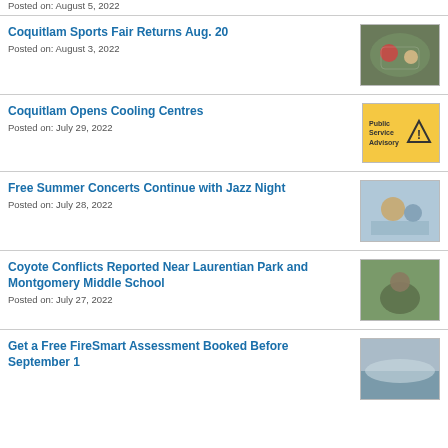Posted on: August 5, 2022
Coquitlam Sports Fair Returns Aug. 20
Posted on: August 3, 2022
Coquitlam Opens Cooling Centres
Posted on: July 29, 2022
Free Summer Concerts Continue with Jazz Night
Posted on: July 28, 2022
Coyote Conflicts Reported Near Laurentian Park and Montgomery Middle School
Posted on: July 27, 2022
Get a Free FireSmart Assessment Booked Before September 1